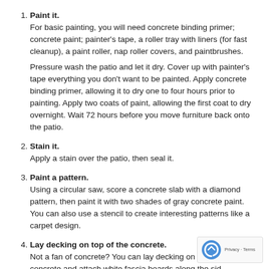Paint it. For basic painting, you will need concrete binding primer; concrete paint; painter's tape, a roller tray with liners (for fast cleanup), a paint roller, nap roller covers, and paintbrushes.

Pressure wash the patio and let it dry. Cover up with painter's tape everything you don't want to be painted. Apply concrete binding primer, allowing it to dry one to four hours prior to painting. Apply two coats of paint, allowing the first coat to dry overnight. Wait 72 hours before you move furniture back onto the patio.
Stain it. Apply a stain over the patio, then seal it.
Paint a pattern. Using a circular saw, score a concrete slab with a diamond pattern, then paint it with two shades of gray concrete paint. You can also use a stencil to create interesting patterns like a carpet design.
Lay decking on top of the concrete. Not a fan of concrete? You can lay decking on top of the concrete and attach white fascia boards along the sid